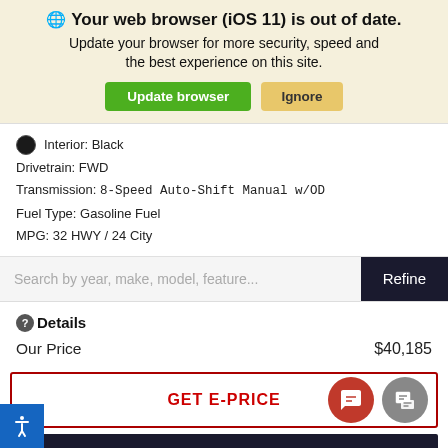[Figure (screenshot): Browser update warning banner with globe icon, bold title, subtitle text, and two buttons (Update browser in green, Ignore in yellow)]
Interior: Black
Drivetrain: FWD
Transmission: 8-Speed Auto-Shift Manual w/OD
Fuel Type: Gasoline Fuel
MPG: 32 HWY / 24 City
Search by year, make, model, feature...
Details
Our Price   $40,185
GET E-PRICE
Start My Instant Purchase